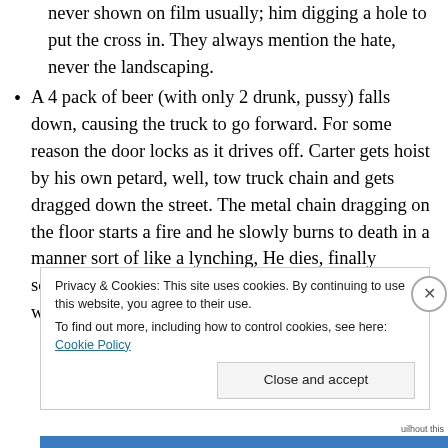never shown on film usually; him digging a hole to put the cross in. They always mention the hate, never the landscaping.
A 4 pack of beer (with only 2 drunk, pussy) falls down, causing the truck to go forward. For some reason the door locks as it drives off. Carter gets hoist by his own petard, well, tow truck chain and gets dragged down the street. The metal chain dragging on the floor starts a fire and he slowly burns to death in a manner sort of like a lynching, He dies, finally something good happens in this film. And it happens while the song “Why Can’t
Privacy & Cookies: This site uses cookies. By continuing to use this website, you agree to their use. To find out more, including how to control cookies, see here: Cookie Policy
Close and accept